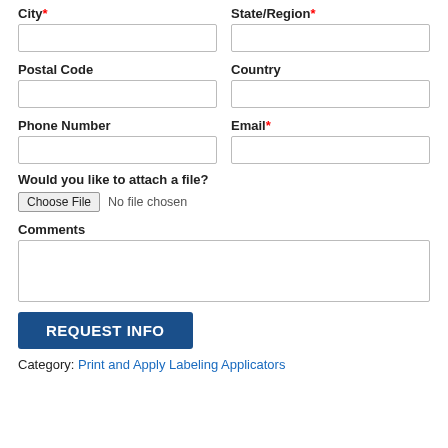City*
State/Region*
Postal Code
Country
Phone Number
Email*
Would you like to attach a file?
Choose File  No file chosen
Comments
REQUEST INFO
Category: Print and Apply Labeling Applicators